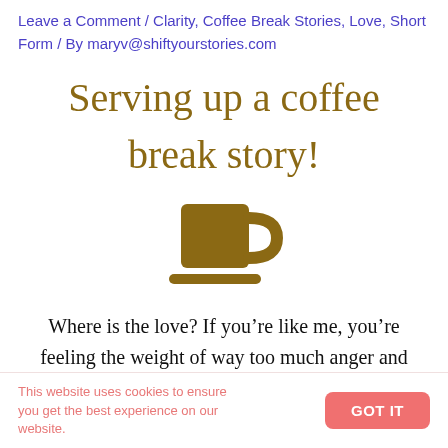Leave a Comment / Clarity, Coffee Break Stories, Love, Short Form / By maryv@shiftyourstories.com
[Figure (illustration): Handwritten-style text in dark golden/brown color reading: Serving up a coffee break story!]
[Figure (illustration): A simple dark golden/brown coffee cup icon with a saucer below it]
Where is the love? If you’re like me, you’re feeling the weight of way too much anger and
This website uses cookies to ensure you get the best experience on our website.